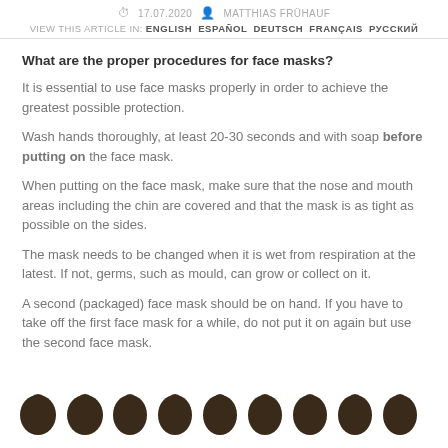17.07.2020  MATTHIAS FRÜHAUF  VIEW THIS ARTICLE IN: ENGLISH  ESPAÑOL  DEUTSCH  FRANÇAIS  РУССКИЙ
What are the proper procedures for face masks?
It is essential to use face masks properly in order to achieve the greatest possible protection.
Wash hands thoroughly, at least 20-30 seconds and with soap before putting on the face mask.
When putting on the face mask, make sure that the nose and mouth areas including the chin are covered and that the mask is as tight as possible on the sides.
The mask needs to be changed when it is wet from respiration at the latest. If not, germs, such as mould, can grow or collect on it.
A second (packaged) face mask should be on hand. If you have to take off the first face mask for a while, do not put it on again but use the second face mask.
[Figure (illustration): Row of illustrated people figures at the bottom of the page]